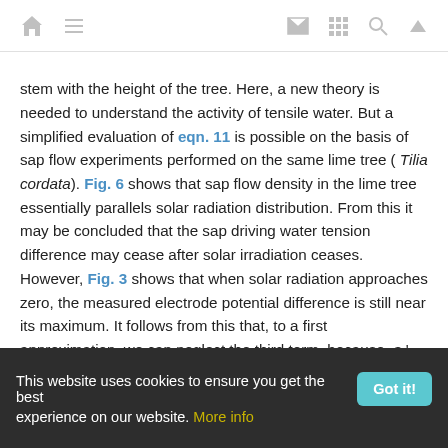[navigation icons: home, menu, mail, grid, search, up]
stem with the height of the tree. Here, a new theory is needed to understand the activity of tensile water. But a simplified evaluation of eqn. 11 is possible on the basis of sap flow experiments performed on the same lime tree ( Tilia cordata). Fig. 6 shows that sap flow density in the lime tree essentially parallels solar radiation distribution. From this it may be concluded that the sap driving water tension difference may cease after solar irradiation ceases. However, Fig. 3 shows that when solar radiation approaches zero, the measured electrode potential difference is still near its maximum. It follows from this that, to a first approximation, we can neglect the third term, because  a 't and  a ''t in the tree will be essentially identical, while there is still a significant
This website uses cookies to ensure you get the best experience on our website. More info  [Got it! button]